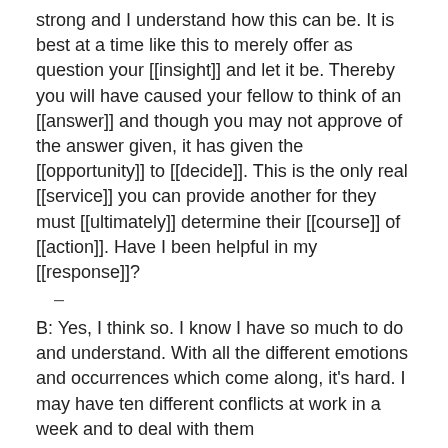strong and I understand how this can be. It is best at a time like this to merely offer as question your [[insight]] and let it be. Thereby you will have caused your fellow to think of an [[answer]] and though you may not approve of the answer given, it has given the [[opportunity]] to [[decide]]. This is the only real [[service]] you can provide another for they must [[ultimately]] determine their [[course]] of [[action]]. Have I been helpful in my [[response]]?
–
B: Yes, I think so. I know I have so much to do and understand. With all the different emotions and occurrences which come along, it's hard. I may have ten different conflicts at work in a week and to deal with them
Rdavis
BUREAUCRATS, ADMINISTRATORS
102,225 EDITS